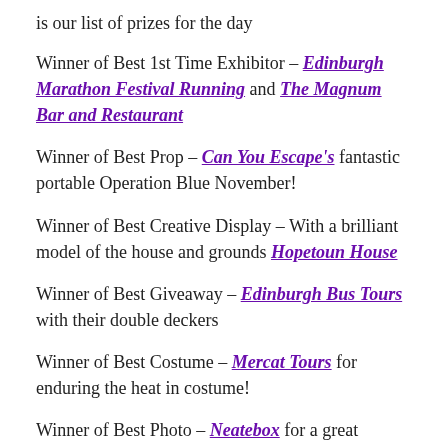is our list of prizes for the day
Winner of Best 1st Time Exhibitor – Edinburgh Marathon Festival Running and The Magnum Bar and Restaurant
Winner of Best Prop – Can You Escape's fantastic portable Operation Blue November!
Winner of Best Creative Display – With a brilliant model of the house and grounds Hopetoun House
Winner of Best Giveaway – Edinburgh Bus Tours with their double deckers
Winner of Best Costume – Mercat Tours for enduring the heat in costume!
Winner of Best Photo – Neatebox for a great picture